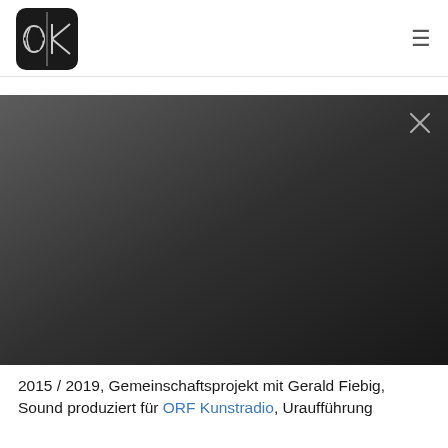ek logo and navigation
[Figure (screenshot): Dark gradient background image area with an X close button in the top right corner]
2015 / 2019, Gemeinschaftsprojekt mit Gerald Fiebig, Sound produziert für ORF Kunstradio, Uraufführung